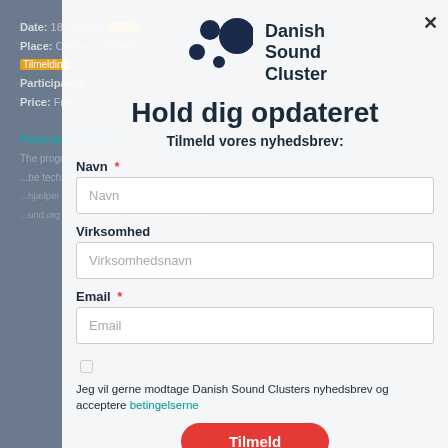[Figure (screenshot): Danish Sound Cluster newsletter signup modal overlay on top of a blurred event page background. Modal contains logo, title 'Hold dig opdateret', subtitle 'Tilmeld vores nyhedsbrev:', form fields for Navn, Virksomhed, Email, a checkbox for accepting terms, and a red submit button.]
Hold dig opdateret
Tilmeld vores nyhedsbrev:
Navn
Virksomhed
Email
Jeg vil gerne modtage Danish Sound Clusters nyhedsbrev og acceptere betingelserne